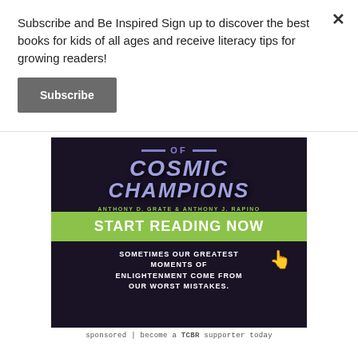Subscribe and Be Inspired Sign up to discover the best books for kids of all ages and receive literacy tips for growing readers!
Subscribe
[Figure (photo): Advertisement for 'Cosmic Champions' book by Anthony D. Grate & Anthony J. Rapino with a dark purple/black background, showing the book title in stylized purple text, a green 'START READING NOW' banner, and white text reading 'SOMETIMES OUR GREATEST MOMENTS OF ENLIGHTENMENT COME FROM OUR WORST MISTAKES.']
sponsored | become a TCBR supporter today